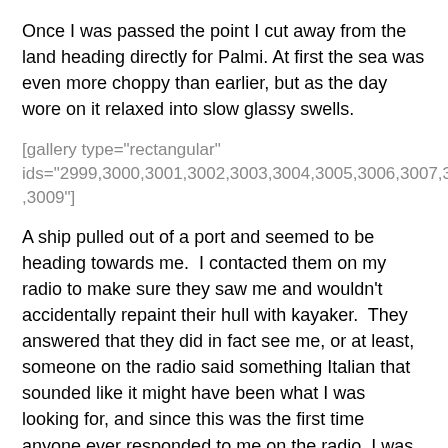Once I was passed the point I cut away from the land heading directly for Palmi. At first the sea was even more choppy than earlier, but as the day wore on it relaxed into slow glassy swells.
[gallery type="rectangular" ids="2999,3000,3001,3002,3003,3004,3005,3006,3007,3008,3009"]
A ship pulled out of a port and seemed to be heading towards me.  I contacted them on my radio to make sure they saw me and wouldn't accidentally repaint their hull with kayaker.  They answered that they did in fact see me, or at least, someone on the radio said something Italian that sounded like it might have been what I was looking for, and since this was the first time anyone ever responded to me on the radio, I was thrilled.
I arrived at the port in Palmi delighted that my belly chafing for the day was at an end. The port itself was crowded with fishing boats and even a few sailboats. A beach on the far side hosted row boats and an enormous double masted